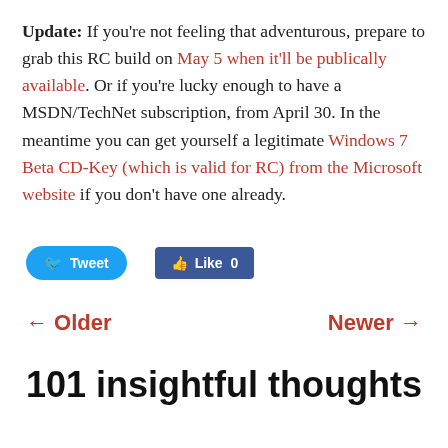Update: If you're not feeling that adventurous, prepare to grab this RC build on May 5 when it'll be publically available. Or if you're lucky enough to have a MSDN/TechNet subscription, from April 30. In the meantime you can get yourself a legitimate Windows 7 Beta CD-Key (which is valid for RC) from the Microsoft website if you don't have one already.
[Figure (other): Social sharing buttons: Tweet button (blue, rounded) and Like 0 button (Facebook blue, rectangular)]
← Older    Newer →
101 insightful thoughts